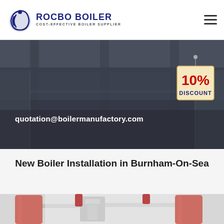[Figure (logo): Rocbo Boiler logo with circular wave graphic and text 'ROCBO BOILER / COST-EFFECTIVE BOILER SUPPLIER']
[Figure (illustration): Hamburger menu icon (three horizontal lines) in top right corner]
[Figure (photo): Dark industrial boiler facility interior with grey metal walls and ceiling, used as hero banner background]
quotation@boilermanufactory.com
[Figure (infographic): 10% DISCOUNT promotional tag sign hanging from a ball, with red '10%' text and blue 'DISCOUNT' text on a cream/beige label]
New Boiler Installation in Burnham-On-Sea
[Figure (photo): Industrial boiler equipment photo strip showing red cylindrical boiler tanks in a facility]